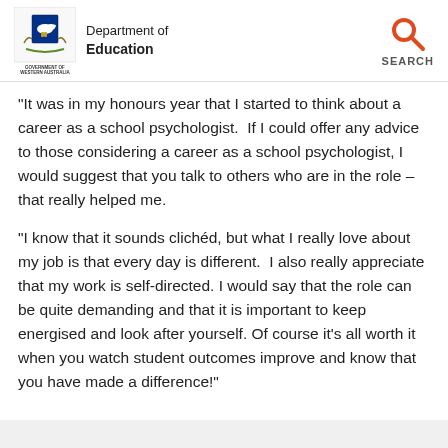Department of Education — Government of Western Australia
"It was in my honours year that I started to think about a career as a school psychologist. If I could offer any advice to those considering a career as a school psychologist, I would suggest that you talk to others who are in the role – that really helped me.
"I know that it sounds clichéd, but what I really love about my job is that every day is different. I also really appreciate that my work is self-directed. I would say that the role can be quite demanding and that it is important to keep energised and look after yourself. Of course it's all worth it when you watch student outcomes improve and know that you have made a difference!"